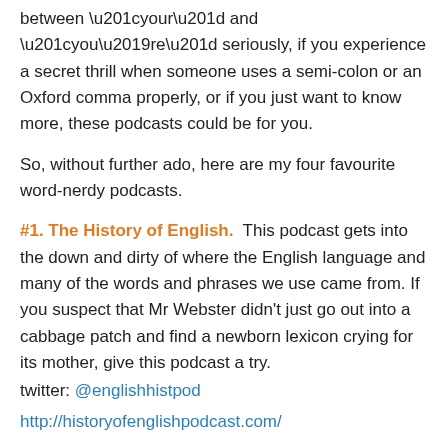between “your” and “you’re” seriously, if you experience a secret thrill when someone uses a semi-colon or an Oxford comma properly, or if you just want to know more, these podcasts could be for you.
So, without further ado, here are my four favourite word-nerdy podcasts.
#1. The History of English.  This podcast gets into the down and dirty of where the English language and many of the words and phrases we use came from. If you suspect that Mr Webster didn’t just go out into a cabbage patch and find a newborn lexicon crying for its mother, give this podcast a try.
twitter: @englishhistpod
http://historyofenglishpodcast.com/